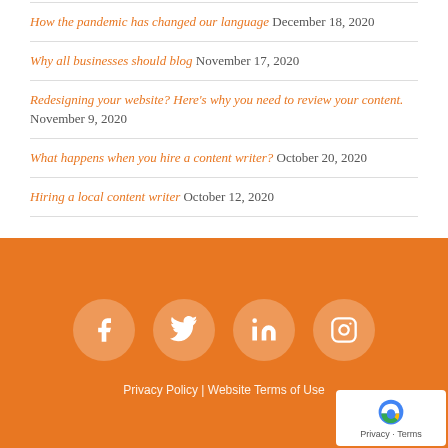How the pandemic has changed our language December 18, 2020
Why all businesses should blog November 17, 2020
Redesigning your website? Here's why you need to review your content. November 9, 2020
What happens when you hire a content writer? October 20, 2020
Hiring a local content writer October 12, 2020
Privacy Policy | Website Terms of Use